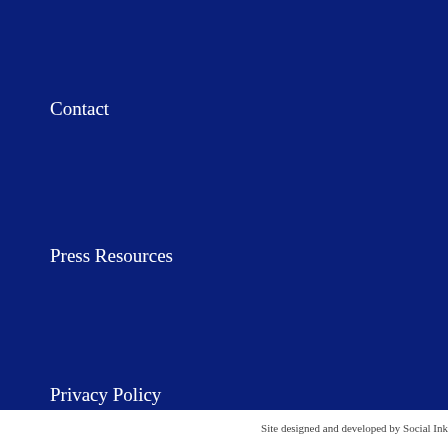Contact
Press Resources
Privacy Policy
Report Pollution
State Disclosures
Site designed and developed by Social Ink